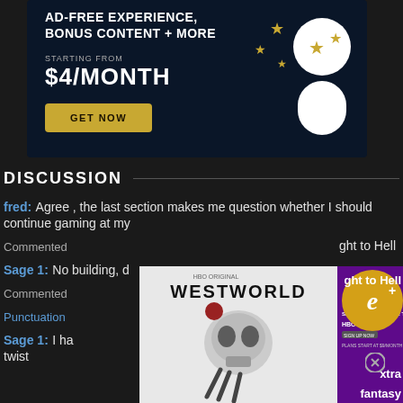[Figure (illustration): Dark blue advertisement banner for a subscription service. Text reads 'AD-FREE EXPERIENCE, BONUS CONTENT + MORE', 'STARTING FROM $4/MONTH' with a 'GET NOW' gold button. Features illustrated white figure silhouette with gold stars.]
DISCUSSION
fred: Agree , the last section makes me question whether I should continue gaming at my
Commented ght to Hell
Sage 1: No building, d
Commented
Punctuation
Sage 1: I ha twist
[Figure (illustration): Westworld HBO Original TV show promotional image - robot skull and hand holding an apple on white background with black text 'WESTWORLD']
[Figure (illustration): HBO Max advertisement with purple background, 'SEE THE BATTLE FOR THE FU... HBOMAX SIGN UP NOW PLANS START AT $9/MONTH' text]
[Figure (logo): Gold circle with 'e+' logo, Extra brand]
xtra
fantasy